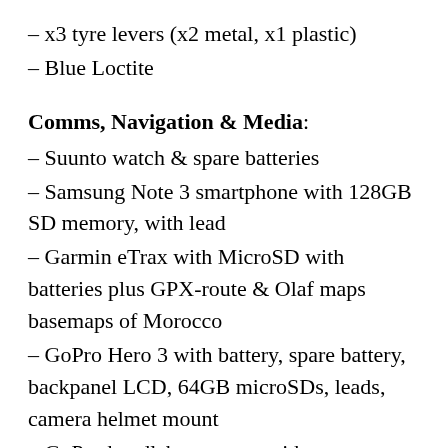– x3 tyre levers (x2 metal, x1 plastic)
– Blue Loctite
Comms, Navigation & Media:
– Suunto watch & spare batteries
– Samsung Note 3 smartphone with 128GB SD memory, with lead
– Garmin eTrax with MicroSD with batteries plus GPX-route & Olaf maps basemaps of Morocco
– GoPro Hero 3 with battery, spare battery, backpanel LCD, 64GB microSDs, leads, camera helmet mount
– GoPro handlebar remote with spare battery and mount
– USB charger plus Moroccan adaptor